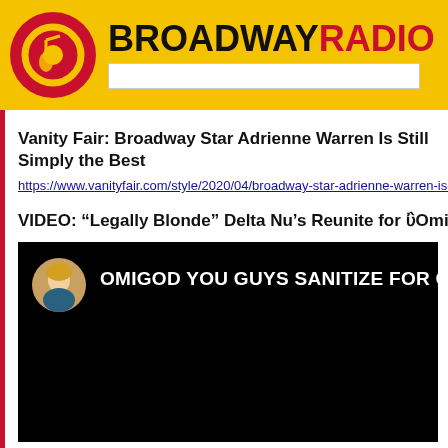BROADWAYRADIO
Vanity Fair: Broadway Star Adrienne Warren Is Still Simply the Best
https://www.vanityfair.com/style/2020/04/broadway-star-adrienne-warren-is-s
VIDEO: “Legally Blonde” Delta Nu’s Reunite for ‘Omigod You Guys’ Pa
[Figure (screenshot): Video thumbnail showing a black background with a circular avatar of a blonde woman and white text reading OMIGOD YOU GUYS SANITIZE FOR CORON...]